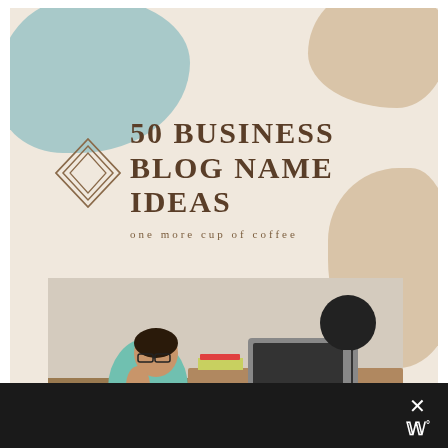[Figure (illustration): Blog post cover image card with decorative blobs (teal top-left, beige top-right and mid-right), diamond outline icon, bold title '50 BUSINESS BLOG NAME IDEAS', subtitle 'one more cup of coffee', and a photo of a woman sitting at a desk with a laptop and lamp. A black bar at the bottom has an X and Wordable logo.]
50 BUSINESS BLOG NAME IDEAS
one more cup of coffee